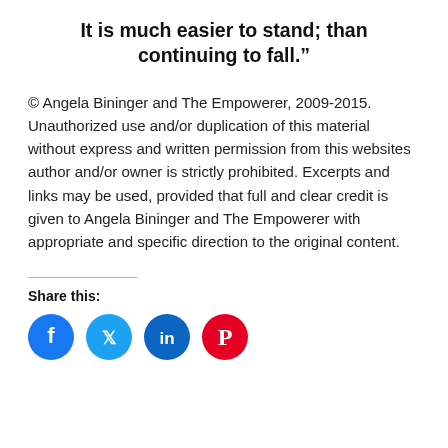It is much easier to stand; than continuing to fall.”
© Angela Bininger and The Empowerer, 2009-2015. Unauthorized use and/or duplication of this material without express and written permission from this websites author and/or owner is strictly prohibited. Excerpts and links may be used, provided that full and clear credit is given to Angela Bininger and The Empowerer with appropriate and specific direction to the original content.
Share this:
[Figure (infographic): Four social share icon buttons: Facebook (blue circle), Twitter (light blue circle), LinkedIn (dark blue circle), Pinterest (red circle)]